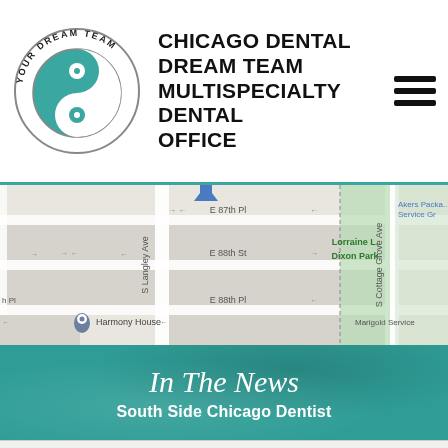[Figure (logo): Chicago Dental Dream Team logo with yin-yang symbol and circular text 'YOUR DREAM TEAM']
CHICAGO DENTAL DREAM TEAM MULTISPECIALTY DENTAL OFFICE
[Figure (map): Google Maps screenshot showing streets near E 87th Pl, E 88th St, E 88th Pl, S Langley Ave, S Cottage Grove Ave, with Harmony House marker, Lorraine L. Dixon Park in green, Akers Package Service Gr label, and Marigold Service label]
In The News
South Side Chicago Dentist